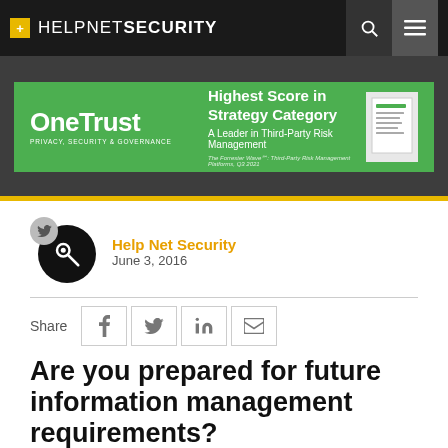+ HELPNETSECURITY
[Figure (illustration): OneTrust advertisement banner: green background, OneTrust logo on left, 'Highest Score in Strategy Category – A Leader in Third-Party Risk Management' text in center, book/report graphic on right]
Help Net Security
June 3, 2016
Share
Are you prepared for future information management requirements?
While 46 percent of federal information management professionals cite managing all types of information assets, regardless of format, as a priority for their field